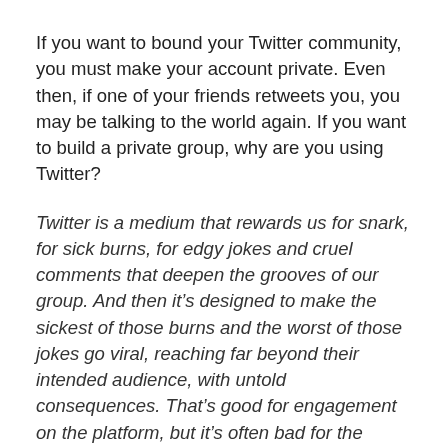If you want to bound your Twitter community, you must make your account private. Even then, if one of your friends retweets you, you may be talking to the world again. If you want to build a private group, why are you using Twitter?
Twitter is a medium that rewards us for snark, for sick burns, for edgy jokes and cruel comments that deepen the grooves of our group. And then it’s designed to make the sickest of those burns and the worst of those jokes go viral, reaching far beyond their intended audience, with untold consequences. That’s good for engagement on the platform, but it’s often bad for the people it happens to.
Right. Be careful what you shout from the rooftops.
Twitter is not your friend. It is built to reward us for snarky